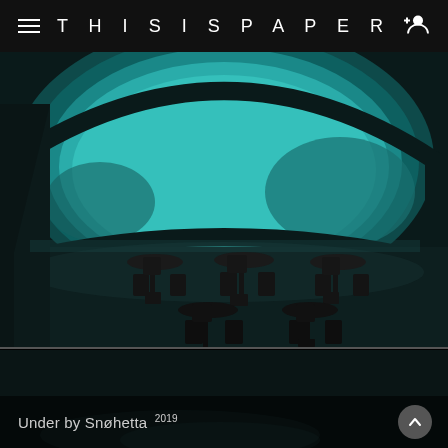THISISPAPER
[Figure (photo): Interior of an underwater restaurant with round tables and chairs silhouetted against a large curved panoramic window revealing a teal-green underwater ocean scene.]
[Figure (photo): Dark lower portion of the same underwater restaurant, showing dimly lit floor area.]
Under by Snøhetta 2019